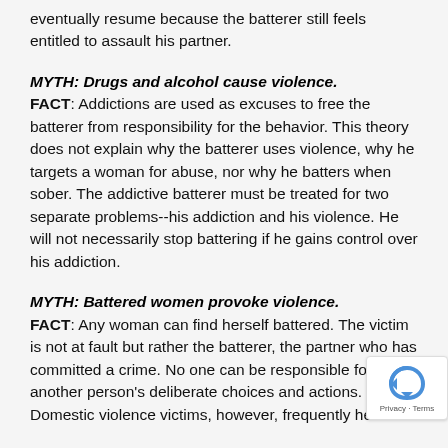eventually resume because the batterer still feels entitled to assault his partner.
MYTH: Drugs and alcohol cause violence.
FACT: Addictions are used as excuses to free the batterer from responsibility for the behavior. This theory does not explain why the batterer uses violence, why he targets a woman for abuse, nor why he batters when sober. The addictive batterer must be treated for two separate problems--his addiction and his violence. He will not necessarily stop battering if he gains control over his addiction.
MYTH: Battered women provoke violence.
FACT: Any woman can find herself battered. The victim is not at fault but rather the batterer, the partner who has committed a crime. No one can be responsible for another person's deliberate choices and actions. Domestic violence victims, however, frequently hear